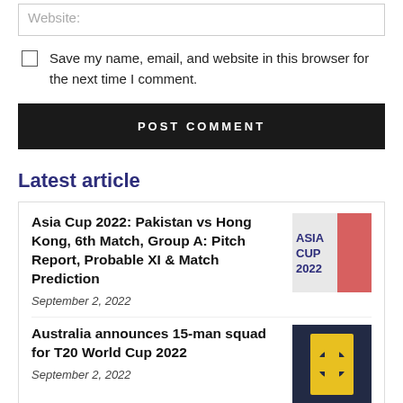Website:
Save my name, email, and website in this browser for the next time I comment.
POST COMMENT
Latest article
Asia Cup 2022: Pakistan vs Hong Kong, 6th Match, Group A: Pitch Report, Probable XI & Match Prediction
September 2, 2022
Australia announces 15-man squad for T20 World Cup 2022
September 2, 2022